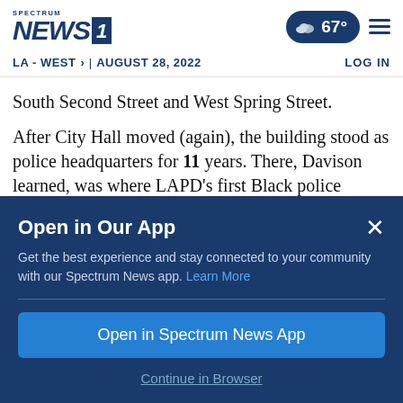Spectrum NEWS1 | 67° | LA - WEST > | AUGUST 28, 2022 | LOG IN
South Second Street and West Spring Street.
After City Hall moved (again), the building stood as police headquarters for 11 years. There, Davison learned, was where LAPD's first Black police officers — Stewart and Joseph Henry
Open in Our App
Get the best experience and stay connected to your community with our Spectrum News app. Learn More
Open in Spectrum News App
Continue in Browser